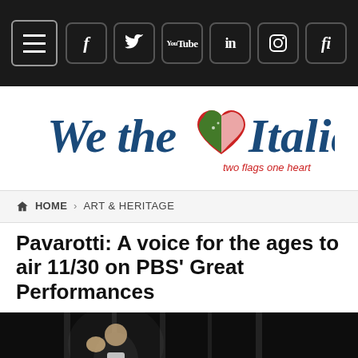Navigation bar with hamburger menu and social icons (Facebook, Twitter, YouTube, LinkedIn, Instagram, fi)
[Figure (logo): We the Italians logo — stylized script text with a heart containing American and Italian flag design, tagline 'two flags one heart']
HOME > ART & HERITAGE
Pavarotti: A voice for the ages to air 11/30 on PBS' Great Performances
[Figure (photo): Dark performance photo of a figure (presumably Pavarotti) on stage with a raised hand, dramatic lighting with vertical light beams and audience visible in background]